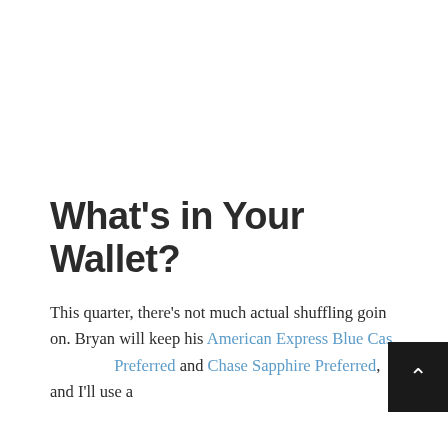What's in Your Wallet?
This quarter, there's not much actual shuffling going on. Bryan will keep his American Express Blue Cash Preferred and Chase Sapphire Preferred, and I'll use a